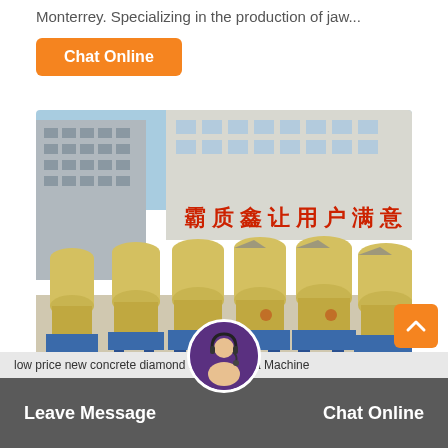Monterrey. Specializing in the production of jaw...
Chat Online
[Figure (photo): Row of large yellow industrial grinding/milling machines lined up outdoors in front of a factory building with Chinese characters on the facade, mounted on blue metal stands.]
Leave Message
low price new concrete diamond mill sell it at a Machine
Chat Online